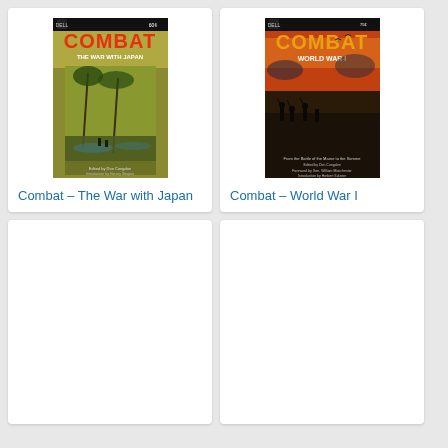[Figure (illustration): Book cover: Combat - The War with Japan, Dell paperback, olive/yellow tones with tropical war scene]
Combat - The War with Japan
$3.50 to $4.00
[Figure (illustration): Book cover: Combat - World War I, Dell paperback, fiery orange/red tones with soldiers silhouettes]
Combat - World War I
VG $4.00